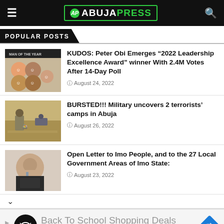ABUJAPRESS
POPULAR POSTS
KUDOS: Peter Obi Emerges “2022 Leadership Excellence Award” winner With 2.4M Votes After 14-Day Poll
August 24, 2022
BURSTED!!! Military uncovers 2 terrorists’ camps in Abuja
August 26, 2022
Open Letter to Imo People, and to the 27 Local Government Areas of Imo State:
August 23, 2022
Back To School Shopping Deals
Leesburg Premium Outlets